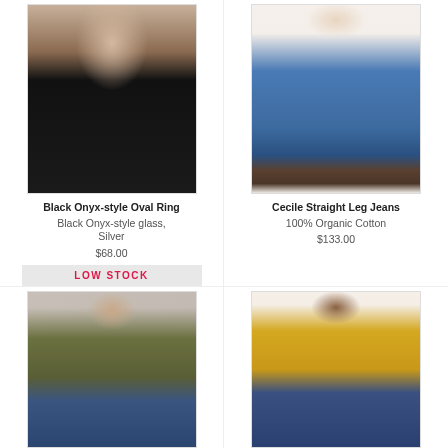[Figure (photo): Woman in black long-sleeve top covering one eye with ringed hand]
Black Onyx-style Oval Ring
Black Onyx-style glass, Silver
$68.00
LOW STOCK
[Figure (photo): Model wearing Cecile Straight Leg Jeans in dark blue with brown sandals on cream background]
Cecile Straight Leg Jeans
100% Organic Cotton
$133.00
[Figure (photo): Model wearing olive green long-sleeve zip bodysuit with blue jeans]
[Figure (photo): Model wearing yellow square-neck tank top with blue jeans]